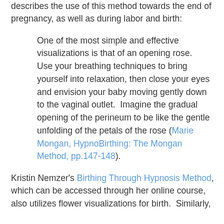describes the use of this method towards the end of pregnancy, as well as during labor and birth:
One of the most simple and effective visualizations is that of an opening rose. Use your breathing techniques to bring yourself into relaxation, then close your eyes and envision your baby moving gently down to the vaginal outlet. Imagine the gradual opening of the perineum to be like the gentle unfolding of the petals of the rose (Marie Mongan, HypnoBirthing: The Mongan Method, pp.147-148).
Kristin Nemzer's Birthing Through Hypnosis Method, which can be accessed through her online course, also utilizes flower visualizations for birth. Similarly,